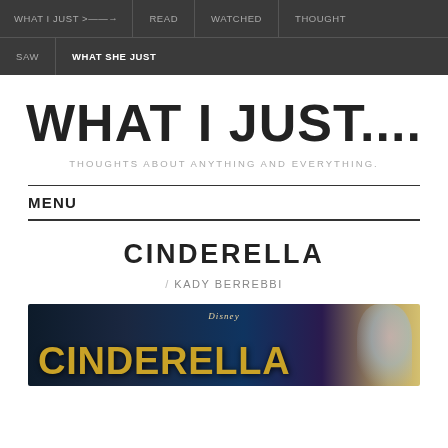WHAT I JUST >——→  READ  WATCHED  THOUGHT  SAW  WHAT SHE JUST
WHAT I JUST....
THOUGHTS ABOUT ANYTHING AND EVERYTHING.
MENU
CINDERELLA
/ KADY BERREBBI
[Figure (photo): Disney Cinderella movie poster with golden title text and a woman in a blue dress on the right side against a dark background]